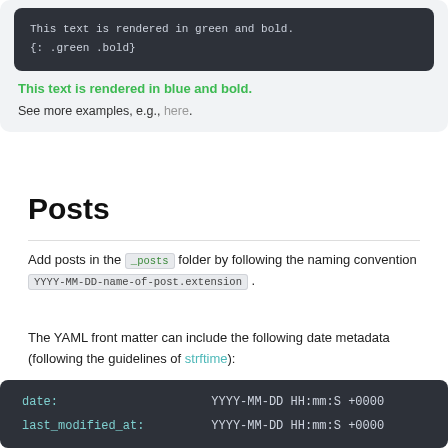[Figure (screenshot): Dark code block showing: 'This text is rendered in green and bold.' and '{: .green .bold}' in monospace on dark background, inside a light gray rounded box that also contains bold green text 'This text is rendered in blue and bold.' and a line 'See more examples, e.g., here.']
Posts
Add posts in the _posts folder by following the naming convention YYYY-MM-DD-name-of-post.extension.
The YAML front matter can include the following date metadata (following the guidelines of strftime):
[Figure (screenshot): Dark code block showing two rows: 'date:' and 'last_modified_at:' with values 'YYYY-MM-DD HH:mm:S +0000']